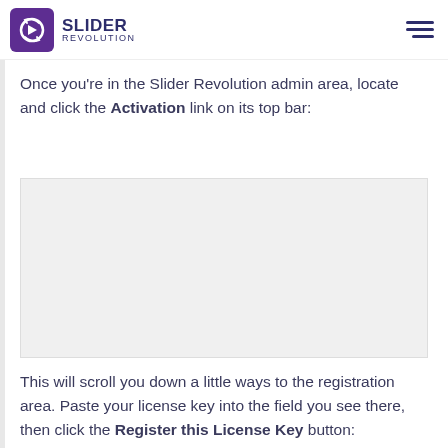Slider Revolution
Once you're in the Slider Revolution admin area, locate and click the Activation link on its top bar:
[Figure (screenshot): Screenshot of the Slider Revolution admin top bar with Activation link highlighted]
This will scroll you down a little ways to the registration area. Paste your license key into the field you see there, then click the Register this License Key button: